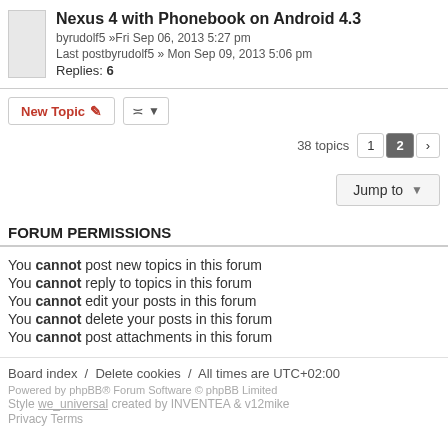Nexus 4 with Phonebook on Android 4.3 — byrudolf5 »Fri Sep 06, 2013 5:27 pm — Last postbyrudolf5 » Mon Sep 09, 2013 5:06 pm — Replies: 6
New Topic | sort | 38 topics 1 2 >
Jump to
FORUM PERMISSIONS
You cannot post new topics in this forum
You cannot reply to topics in this forum
You cannot edit your posts in this forum
You cannot delete your posts in this forum
You cannot post attachments in this forum
Board index / Delete cookies / All times are UTC+02:00 — Powered by phpBB® Forum Software © phpBB Limited — Style we_universal created by INVENTEA & v12mike — Privacy Terms